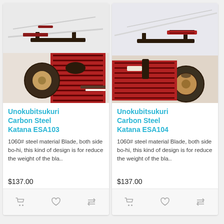[Figure (photo): Unokubitsukuri Carbon Steel Katana ESA103 product photo showing sword on stand and handle detail]
Unokubitsukuri Carbon Steel Katana ESA103
1060# steel material Blade, both side bo-hi, this kind of design is for reduce the weight of the bla..
$137.00
[Figure (photo): Unokubitsukuri Carbon Steel Katana ESA104 product photo showing sword on stand and handle detail]
Unokubitsukuri Carbon Steel Katana ESA104
1060# steel material Blade, both side bo-hi, this kind of design is for reduce the weight of the bla..
$137.00